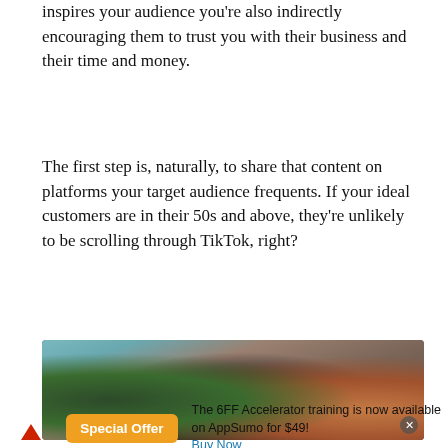inspires your audience you're also indirectly encouraging them to trust you with their business and their time and money.
The first step is, naturally, to share that content on platforms your target audience frequents. If your ideal customers are in their 50s and above, they're unlikely to be scrolling through TikTok, right?
[Figure (photo): A dark-toned scene showing a round topiary bush on the left, an archway in the background, and a person with red/auburn hair and glasses on the right, partially visible.]
The 6FF Accelerator training is now available on AppSumo for $49! Buy Now